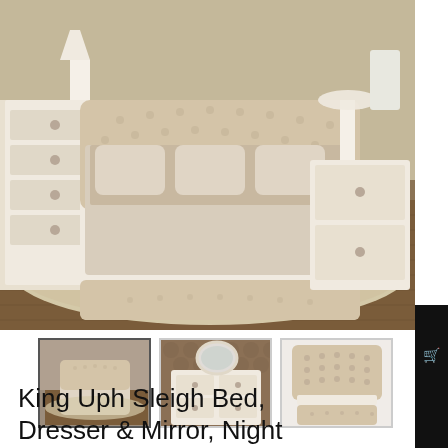[Figure (photo): Main product photo showing a king upholstered sleigh bed with tufted headboard and footboard in beige/cream fabric, white-painted wood frame, dressed with floral bedding, on a patterned area rug over hardwood floors. White dresser visible on left, nightstand on right.]
[Figure (photo): Thumbnail 1: Same bedroom scene with king sleigh bed, lighter view]
[Figure (photo): Thumbnail 2: White painted dresser with mirror and decorative knobs against a patterned wallpaper background]
[Figure (photo): Thumbnail 3: Close-up of tufted upholstered headboard and footboard bench in beige fabric on white frame]
King Uph Sleigh Bed, Dresser & Mirror, Night